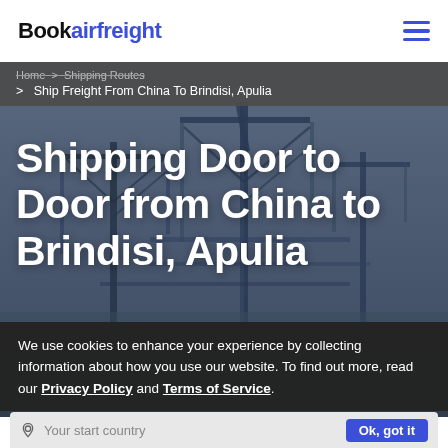Bookairfreight
Home > Shipping Routes > Ship Freight From China To Brindisi, Apulia
Shipping Door to Door from China to Brindisi, Apulia
We use cookies to enhance your experience by collecting information about how you use our website. To find out more, read our Privacy Policy and Terms of Service.
Your start country  Ok, got it